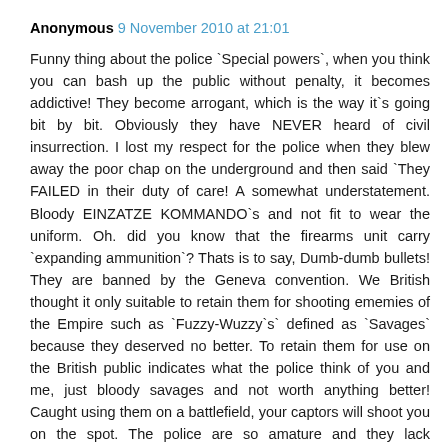Anonymous 9 November 2010 at 21:01

Funny thing about the police `Special powers`, when you think you can bash up the public without penalty, it becomes addictive! They become arrogant, which is the way it`s going bit by bit. Obviously they have NEVER heard of civil insurrection. I lost my respect for the police when they blew away the poor chap on the underground and then said `They FAILED in their duty of care! A somewhat understatement. Bloody EINZATZE KOMMANDO`s and not fit to wear the uniform. Oh. did you know that the firearms unit carry `expanding ammunition`? Thats is to say, Dumb-dumb bullets! They are banned by the Geneva convention. We British thought it only suitable to retain them for shooting ememies of the Empire such as `Fuzzy-Wuzzy`s` defined as `Savages` because they deserved no better. To retain them for use on the British public indicates what the police think of you and me, just bloody savages and not worth anything better! Caught using them on a battlefield, your captors will shoot you on the spot. The police are so amature and they lack negotiative skills. They have lost the plot. They are supposed to be here to keep the peace...